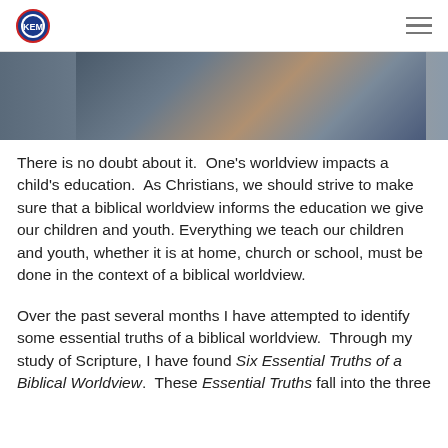KEM logo and navigation menu
[Figure (photo): Partial photo showing a person in white clothing against a dark blue background, cropped to a horizontal strip]
There is no doubt about it.  One's worldview impacts a child's education.  As Christians, we should strive to make sure that a biblical worldview informs the education we give our children and youth.  Everything we teach our children and youth, whether it is at home, church or school, must be done in the context of a biblical worldview.
Over the past several months I have attempted to identify some essential truths of a biblical worldview.  Through my study of Scripture, I have found Six Essential Truths of a Biblical Worldview.  These Essential Truths fall into the three components of a biblical worldview.